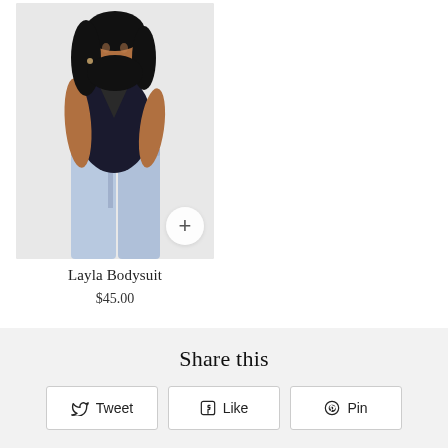[Figure (photo): A woman wearing a black halter bodysuit with a deep V-neckline and light blue jeans, posing against a white background. A circular plus (+) button is visible at the bottom right of the image.]
Layla Bodysuit
$45.00
Share this
Tweet
Like
Pin